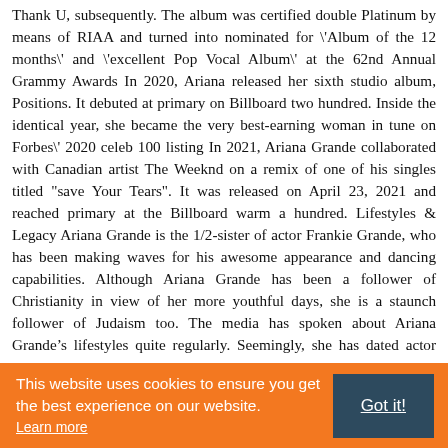Thank U, subsequently. The album was certified double Platinum by means of RIAA and turned into nominated for \'Album of the 12 months\' and \'excellent Pop Vocal Album\' at the 62nd Annual Grammy Awards In 2020, Ariana released her sixth studio album, Positions. It debuted at primary on Billboard two hundred. Inside the identical year, she became the very best-earning woman in tune on Forbes\' 2020 celeb 100 listing In 2021, Ariana Grande collaborated with Canadian artist The Weeknd on a remix of one of his singles titled "save Your Tears". It was released on April 23, 2021 and reached primary at the Billboard warm a hundred. Lifestyles & Legacy Ariana Grande is the 1/2-sister of actor Frankie Grande, who has been making waves for his awesome appearance and dancing capabilities. Although Ariana Grande has been a follower of Christianity in view of her more youthful days, she is a staunch follower of Judaism too. The media has spoken about Ariana Grande’s lifestyles quite regularly. Seemingly, she has dated actor Graham Phillips and comedian Jai Brooks inside the beyond. She was additionally in a relationship with rapper big Sean, who collaborated along with her on several musical endeavours. In 2018, Ariana Grande was engaged to comic Pete Davidson in June 2018, but the couple separated 4 months after
This website uses cookies to ensure you get the best experience on our website. Learn more